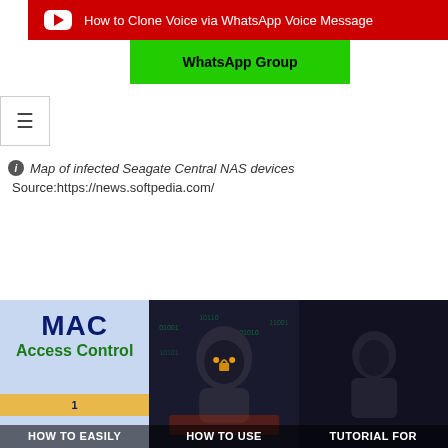[Figure (screenshot): Red YouTube bar with play icon and text 'How to Clone Voice via WhatsApp Voice Message']
[Figure (screenshot): Green WhatsApp Group button]
[Figure (screenshot): Hamburger menu button]
ℹ Map of infected Seagate Central NAS devices
Source:https://news.softpedia.com/
[Figure (screenshot): Three thumbnail images at bottom: MAC Access Control tutorial, How to Use (hacker image), Tutorial For (dark image)]